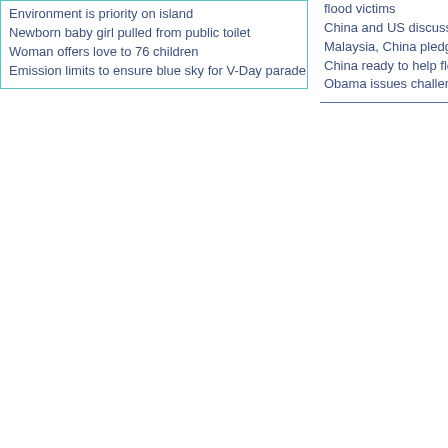Environment is priority on island
Newborn baby girl pulled from public toilet
Woman offers love to 76 children
Emission limits to ensure blue sky for V-Day parade
flood victims
China and US discuss
Malaysia, China pledg
China ready to help flo
Obama issues challen